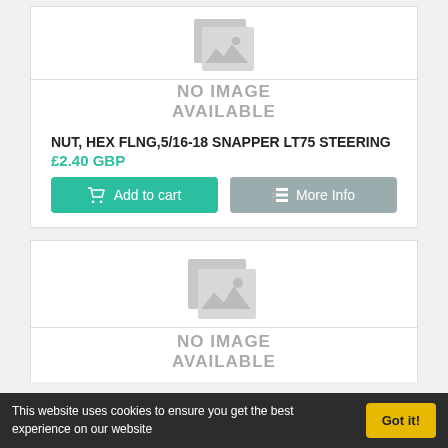[Figure (illustration): No image available placeholder icon with grey image symbol]
NO IMAGE AVAILABLE
NUT, HEX FLNG,5/16-18 SNAPPER LT75 STEERING
£2.40 GBP
Add to cart
More Info
[Figure (illustration): No image available placeholder icon with grey image symbol]
NO IMAGE AVAILABLE
This website uses cookies to ensure you get the best experience on our website
Got it!